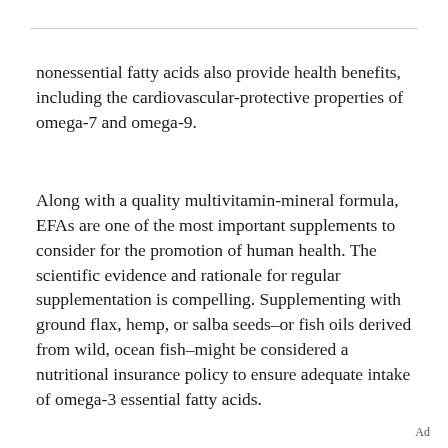nonessential fatty acids also provide health benefits, including the cardiovascular-protective properties of omega-7 and omega-9.
Along with a quality multivitamin-mineral formula, EFAs are one of the most important supplements to consider for the promotion of human health. The scientific evidence and rationale for regular supplementation is compelling. Supplementing with ground flax, hemp, or salba seeds–or fish oils derived from wild, ocean fish–might be considered a nutritional insurance policy to ensure adequate intake of omega-3 essential fatty acids.
Ad